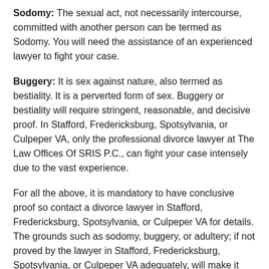Sodomy: The sexual act, not necessarily intercourse, committed with another person can be termed as Sodomy. You will need the assistance of an experienced lawyer to fight your case.
Buggery: It is sex against nature, also termed as bestiality. It is a perverted form of sex. Buggery or bestiality will require stringent, reasonable, and decisive proof. In Stafford, Fredericksburg, Spotsylvania, or Culpeper VA, only the professional divorce lawyer at The Law Offices Of SRIS P.C., can fight your case intensely due to the vast experience.
For all the above, it is mandatory to have conclusive proof so contact a divorce lawyer in Stafford, Fredericksburg, Spotsylvania, or Culpeper VA for details. The grounds such as sodomy, buggery, or adultery; if not proved by the lawyer in Stafford, Fredericksburg, Spotsylvania, or Culpeper VA adequately, will make it impossible to obtain a divorce.
Considerations for a divorce in Stafford,